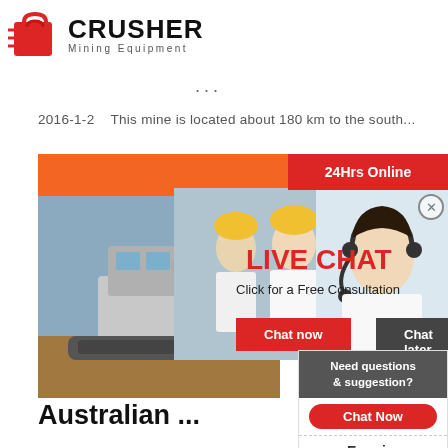[Figure (logo): Crusher Mining Equipment logo with red shopping bag icon and bold text]
...
2016-1-2    This mine is located about 180 km to the south...
[Figure (screenshot): Orange 'Read More' banner bar]
[Figure (screenshot): Red '24Hrs Online' bar in top right]
[Figure (screenshot): Live Chat popup overlay with workers photo, LIVE CHAT heading, Click for a Free Consultation subtext, Chat now and Chat later buttons]
[Figure (photo): Customer service representative with headset on right side]
[Figure (photo): Excavator mining equipment photo on left]
attac
Burkin
gold m
has
Australian ...
[Figure (infographic): Right sidebar panel with 'Need questions & suggestion?' text, red Chat Now button, Enquiry link, and limingjlmofen@sina.com email]